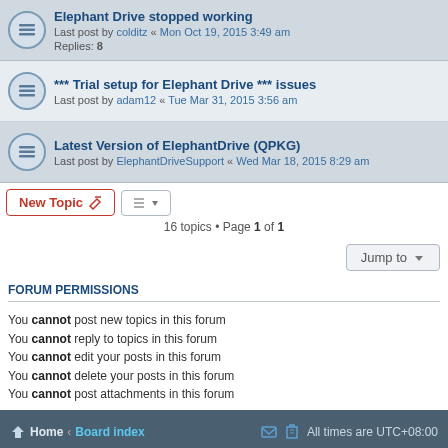Elephant Drive stopped working — Last post by colditz « Mon Oct 19, 2015 3:49 am — Replies: 8
*** Trial setup for Elephant Drive *** issues — Last post by adam12 « Tue Mar 31, 2015 3:56 am
Latest Version of ElephantDrive (QPKG) — Last post by ElephantDriveSupport « Wed Mar 18, 2015 8:29 am
16 topics • Page 1 of 1
FORUM PERMISSIONS
You cannot post new topics in this forum
You cannot reply to topics in this forum
You cannot edit your posts in this forum
You cannot delete your posts in this forum
You cannot post attachments in this forum
Home · Board index   All times are UTC+08:00
Powered by phpBB® Forum Software © phpBB Limited
Privacy | Terms